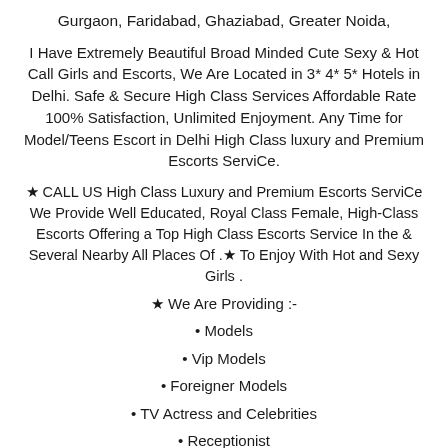Gurgaon, Faridabad, Ghaziabad, Greater Noida,
I Have Extremely Beautiful Broad Minded Cute Sexy & Hot Call Girls and Escorts, We Are Located in 3* 4* 5* Hotels in Delhi. Safe & Secure High Class Services Affordable Rate 100% Satisfaction, Unlimited Enjoyment. Any Time for Model/Teens Escort in Delhi High Class luxury and Premium Escorts ServiCe.
★ CALL US High Class Luxury and Premium Escorts ServiCe We Provide Well Educated, Royal Class Female, High-Class Escorts Offering a Top High Class Escorts Service In the & Several Nearby All Places Of . ★ To Enjoy With Hot and Sexy Girls .
★ We Are Providing :-
• Models
• Vip Models
• Foreigner Models
• TV Actress and Celebrities
• Receptionist